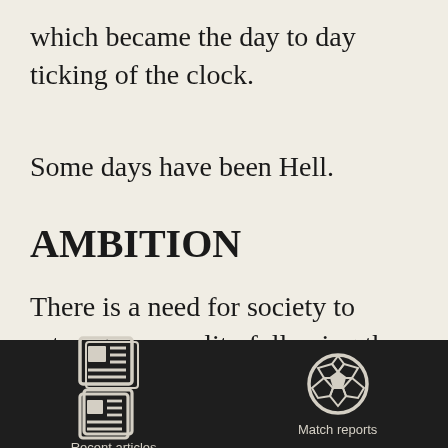which became the day to day ticking of the clock.
Some days have been Hell.
AMBITION
There is a need for society to return to normality following the COVID-19 pandemic and part of that return is a
[Figure (infographic): Navigation bar with two icons: a newspaper/articles icon labeled 'Recent articles' and a soccer ball icon labeled 'Match reports', on a dark background.]